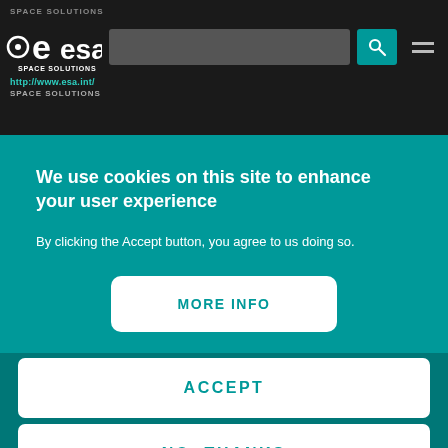SPACE SOLUTIONS — ESA Space Solutions — http://www.esa.int/
We use cookies on this site to enhance your user experience
By clicking the Accept button, you agree to us doing so.
MORE INFO
ACCEPT
NO, THANKS